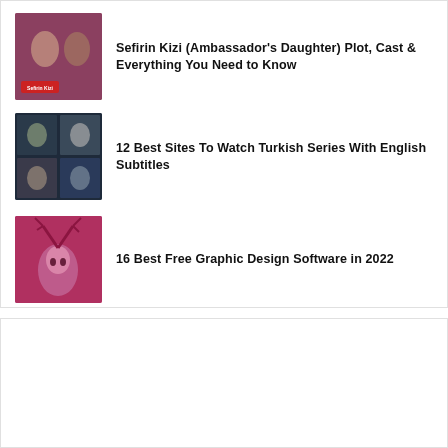[Figure (photo): Thumbnail image for Sefirin Kizi (Ambassador's Daughter) article showing a man and woman with red label overlay]
Sefirin Kizi (Ambassador's Daughter) Plot, Cast & Everything You Need to Know
[Figure (photo): Collage thumbnail of Turkish series with multiple show images]
12 Best Sites To Watch Turkish Series With English Subtitles
[Figure (photo): Fantasy deer/elk creature with antlers in pink/red artistic style]
16 Best Free Graphic Design Software in 2022
[Figure (illustration): Social media icons footer: Twitter, Instagram, Pinterest, Heart/Bloglovin]